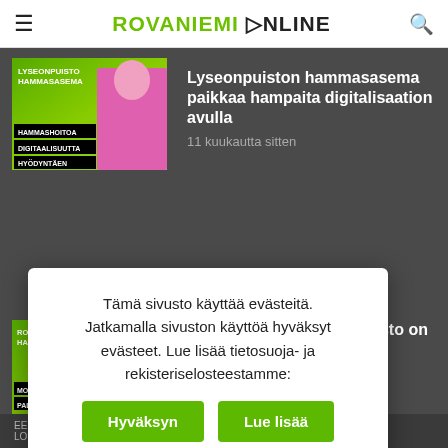ROVANIEMI ONLINE
[Figure (photo): Thumbnail image for dental clinic article — green promotional graphic with man in pink shirt and text overlays: LYSEONPUISTON HAMMASASEMA, HAMMASHOITOA DIGITAALISUUTTA HYÖDYNTÄEN]
Lyseonpuiston hammasasema paikkaa hampaita digitalisaation avulla
11 kuukautta sitten
[Figure (photo): Thumbnail image for funeral home article — green promotional graphic with person wearing glasses and text overlays: ROVANIEMEN HAUTAUSTOIMISTO, MONIPUOLISTA PALVELUA]
Rovaniemen Hautaustoimisto on elänyt juhlissa ja …ellä …62
Tämä sivusto käyttää evästeitä. Jatkamalla sivuston käyttöä hyväksyt evästeet. Lue lisää tietosuoja- ja rekisteriselosteestamme:
Hyväksyn
Lue lisää
EELU JA TOTEUTUS
LOSTE